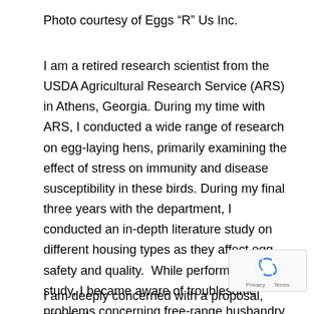Photo courtesy of Eggs “R” Us Inc.
I am a retired research scientist from the USDA Agricultural Research Service (ARS) in Athens, Georgia. During my time with ARS, I conducted a wide range of research on egg-laying hens, primarily examining the effect of stress on immunity and disease susceptibility in these birds. During my final three years with the department, I conducted an in-depth literature study on different housing types as they affect egg safety and quality.  While performing this study, I became aware of troublesome problems concerning free-range husbandry with respect to hen wellbeing.
I am deeply concerned with a proposal, enacted